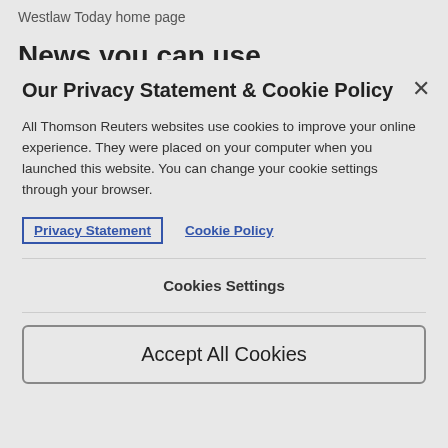Westlaw Today home page
News you can use
Our Privacy Statement & Cookie Policy
All Thomson Reuters websites use cookies to improve your online experience. They were placed on your computer when you launched this website. You can change your cookie settings through your browser.
Privacy Statement   Cookie Policy
Cookies Settings
Accept All Cookies